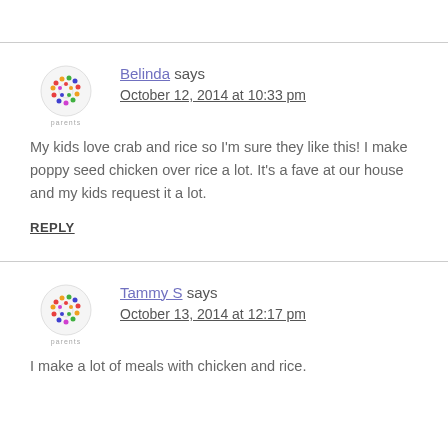Belinda says
October 12, 2014 at 10:33 pm
My kids love crab and rice so I'm sure they like this! I make poppy seed chicken over rice a lot. It's a fave at our house and my kids request it a lot.
REPLY
Tammy S says
October 13, 2014 at 12:17 pm
I make a lot of meals with chicken and rice.